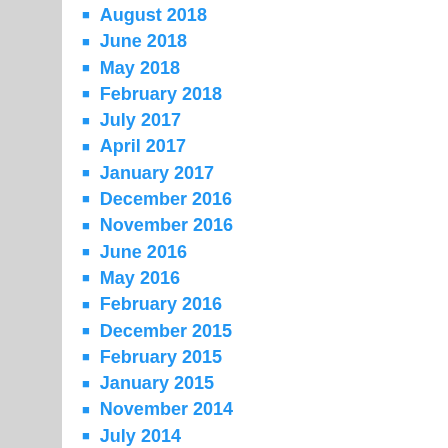August 2018
June 2018
May 2018
February 2018
July 2017
April 2017
January 2017
December 2016
November 2016
June 2016
May 2016
February 2016
December 2015
February 2015
January 2015
November 2014
July 2014
June 2014
May 2014
March 2014
February 2014
January 2014